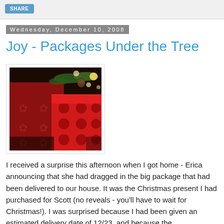SHARE
Wednesday, December 10, 2008
Joy - Packages Under the Tree
[Figure (photo): Photograph of red Christmas gift packages wrapped with ribbon and polka dot paper, under a Christmas tree with lights visible in the background]
I received a surprise this afternoon when I got home - Erica announcing that she had dragged in the big package that had been delivered to our house. It was the Christmas present I had purchased for Scott (no reveals - you'll have to wait for Christmas!). I was surprised because I had been given an estimated delivery date of 12/23, and because the